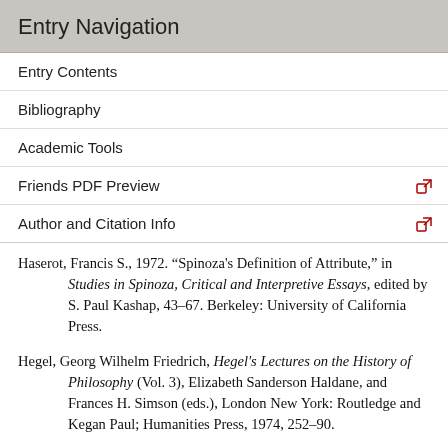Entry Navigation
Entry Contents
Bibliography
Academic Tools
Friends PDF Preview
Author and Citation Info
Haserot, Francis S., 1972. “Spinoza's Definition of Attribute,” in Studies in Spinoza, Critical and Interpretive Essays, edited by S. Paul Kashap, 43–67. Berkeley: University of California Press.
Hegel, Georg Wilhelm Friedrich, Hegel's Lectures on the History of Philosophy (Vol. 3), Elizabeth Sanderson Haldane, and Frances H. Simson (eds.), London New York: Routledge and Kegan Paul; Humanities Press, 1974, 252–90.
Hoffman, Paul, 1986. “The Unity of Descartes’s Man,”